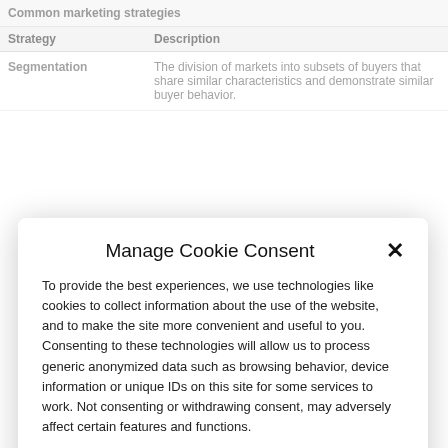| Strategy | Description |
| --- | --- |
| Segmentation | The division of markets into subsets of buyers that share similar characteristics and demonstrate similar buyer behavior. |
[Figure (screenshot): Cookie consent modal dialog with title 'Manage Cookie Consent', descriptive text about data collection, Accept button, View preferences button, and Privacy Statement link.]